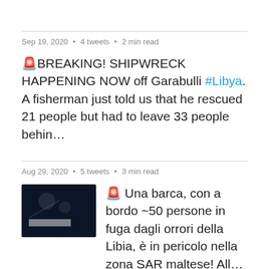Sep 19, 2020 • 4 tweets • 2 min read
🚨BREAKING! SHIPWRECK HAPPENING NOW off Garabulli #Libya. A fisherman just told us that he rescued 21 people but had to leave 33 people behin…
Aug 29, 2020 • 5 tweets • 3 min read
[Figure (photo): Dark thumbnail image showing a nighttime aerial or satellite view, dark blue/black background with faint circular shapes and a small white label/text element in the lower center]
🚨 Una barca, con a bordo ~50 persone in fuga dagli orrori della Libia, è in pericolo nella zona SAR maltese! All…